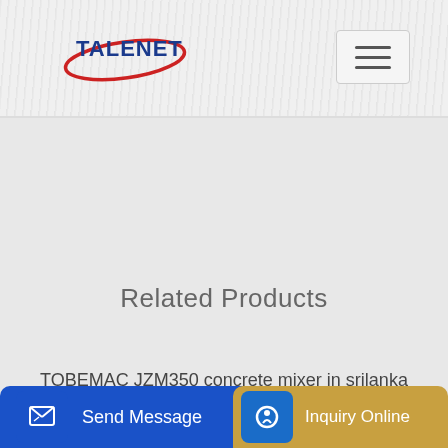[Figure (logo): Talenet logo with red ellipse swoosh and blue bold text 'TALENET']
Related Products
TOBEMAC JZM350 concrete mixer in srilanka
DK Concrete Pumping
Send Message   Inquiry Online